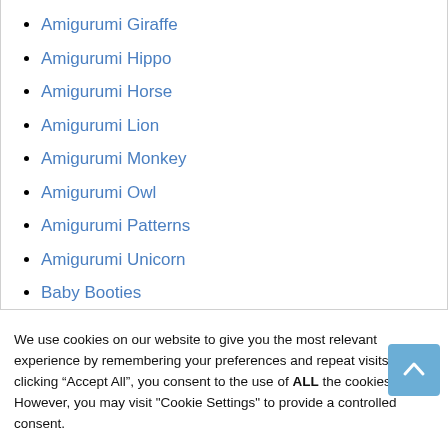Amigurumi Giraffe
Amigurumi Hippo
Amigurumi Horse
Amigurumi Lion
Amigurumi Monkey
Amigurumi Owl
Amigurumi Patterns
Amigurumi Unicorn
Baby Booties
Battaniye Modelleri
We use cookies on our website to give you the most relevant experience by remembering your preferences and repeat visits. By clicking “Accept All”, you consent to the use of ALL the cookies. However, you may visit "Cookie Settings" to provide a controlled consent.